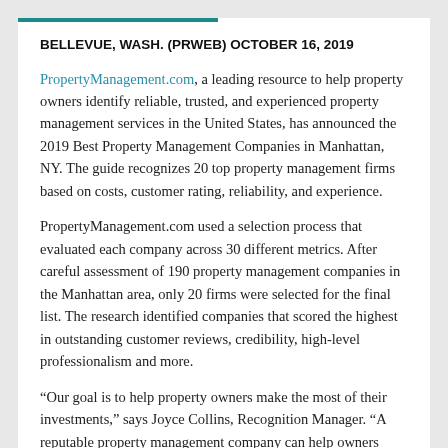BELLEVUE, WASH. (PRWEB) OCTOBER 16, 2019
PropertyManagement.com, a leading resource to help property owners identify reliable, trusted, and experienced property management services in the United States, has announced the 2019 Best Property Management Companies in Manhattan, NY. The guide recognizes 20 top property management firms based on costs, customer rating, reliability, and experience.
PropertyManagement.com used a selection process that evaluated each company across 30 different metrics. After careful assessment of 190 property management companies in the Manhattan area, only 20 firms were selected for the final list. The research identified companies that scored the highest in outstanding customer reviews, credibility, high-level professionalism and more.
“Our goal is to help property owners make the most of their investments,” says Joyce Collins, Recognition Manager. “A reputable property management company can help owners save time and money by advertising rentals, collecting rent, handling maintenance issues and responding to tenant complaints.”
In addition to top picks for property management companies...